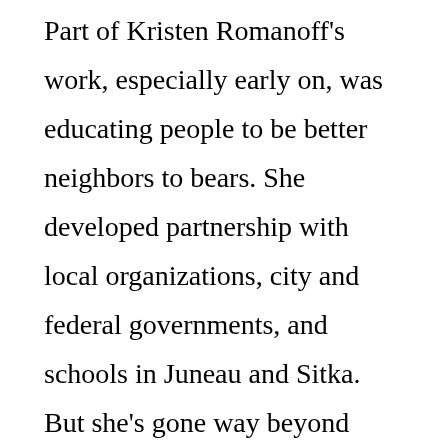Part of Kristen Romanoff's work, especially early on, was educating people to be better neighbors to bears. She developed partnership with local organizations, city and federal governments, and schools in Juneau and Sitka. But she's gone way beyond addressing trash problems and bear safety. She's involved students in bear research, tracking bears with GPS collars and developing ArcView maps. The work of Romanoff and others has vastly improved the situation in Juneau, and that work is shared with other communities.
She earned her undergraduate degree in Environmental Studies from the University